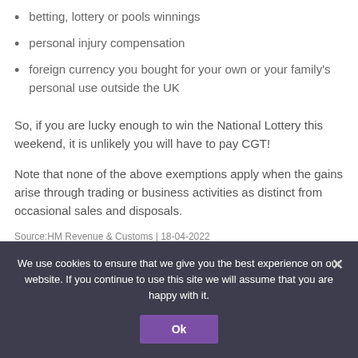betting, lottery or pools winnings
personal injury compensation
foreign currency you bought for your own or your family's personal use outside the UK
So, if you are lucky enough to win the National Lottery this weekend, it is unlikely you will have to pay CGT!
Note that none of the above exemptions apply when the gains arise through trading or business activities as distinct from occasional sales and disposals.
Source:HM Revenue & Customs | 18-04-2022
We use cookies to ensure that we give you the best experience on our website. If you continue to use this site we will assume that you are happy with it.